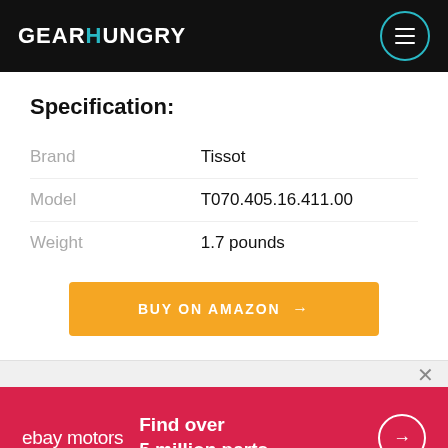GEARHUNGRY
Specification:
|  |  |
| --- | --- |
| Brand | Tissot |
| Model | T070.405.16.411.00 |
| Weight | 1.7 pounds |
BUY ON AMAZON →
[Figure (other): eBay Motors advertisement banner: 'Find over 5 million parts' with arrow button]